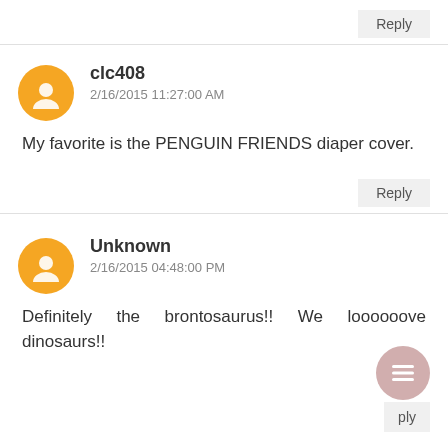Reply
clc408
2/16/2015 11:27:00 AM
My favorite is the PENGUIN FRIENDS diaper cover.
Reply
Unknown
2/16/2015 04:48:00 PM
Definitely the brontosaurus!! We loooooove dinosaurs!!
ply